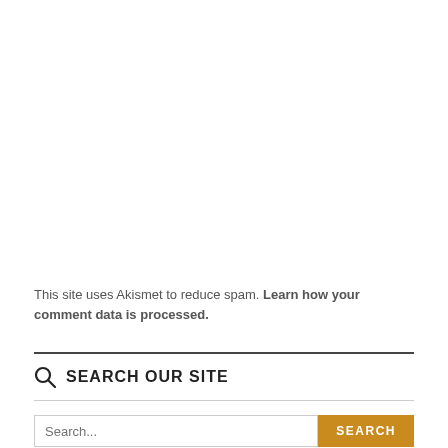This site uses Akismet to reduce spam. Learn how your comment data is processed.
SEARCH OUR SITE
Search...